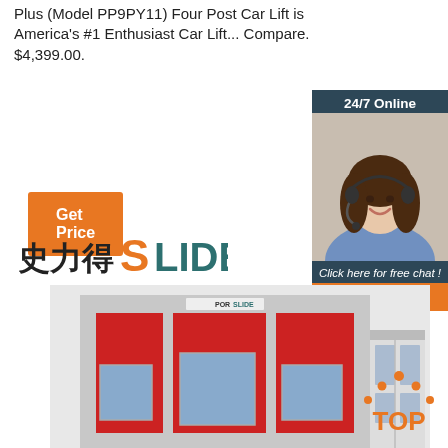Plus (Model PP9PY11) Four Post Car Lift is America's #1 Enthusiast Car Lift... Compare. $4,399.00.
Get Price
[Figure (screenshot): 24/7 Online chat widget with woman wearing headset and buttons for free chat and QUOTATION]
[Figure (logo): SLIDE brand logo with Chinese characters 史力得 and orange S letter]
[Figure (photo): Red spray paint booth / car lift booth product image from PORSLIDE brand]
[Figure (infographic): Orange TOP badge with dots above text]